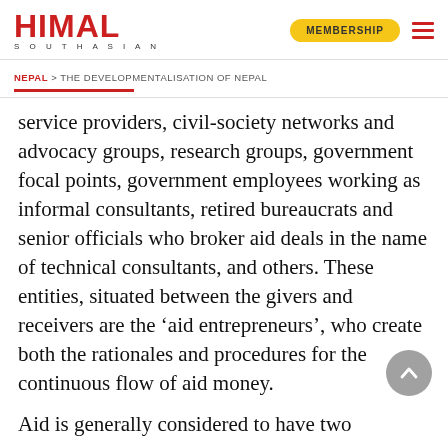HIMAL SOUTHASIAN | MEMBERSHIP
NEPAL > THE DEVELOPMENTALISATION OF NEPAL
service providers, civil-society networks and advocacy groups, research groups, government focal points, government employees working as informal consultants, retired bureaucrats and senior officials who broker aid deals in the name of technical consultants, and others. These entities, situated between the givers and receivers are the ‘aid entrepreneurs’, who create both the rationales and procedures for the continuous flow of aid money.
Aid is generally considered to have two